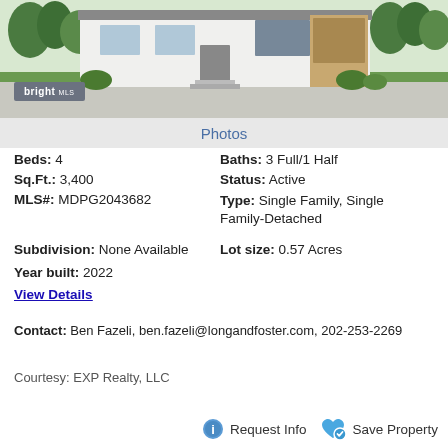[Figure (photo): Exterior photo of a modern single-family house with white facade, large windows, and landscaping]
Photos
Beds: 4
Baths: 3 Full/1 Half
Sq.Ft.: 3,400
Status: Active
MLS#: MDPG2043682
Type: Single Family, Single Family-Detached
Subdivision: None Available
Lot size: 0.57 Acres
Year built: 2022
View Details
Contact: Ben Fazeli, ben.fazeli@longandfoster.com, 202-253-2269
Courtesy: EXP Realty, LLC
Request Info
Save Property